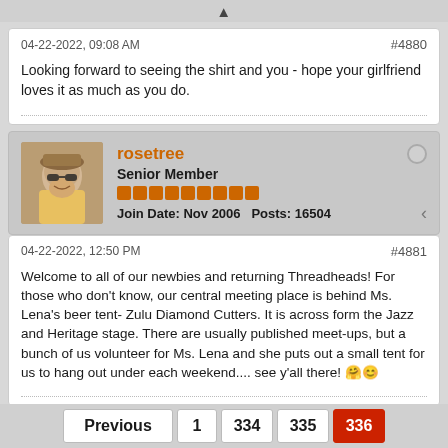04-22-2022, 09:08 AM   #4880
Looking forward to seeing the shirt and you - hope your girlfriend loves it as much as you do.
rosetree
Senior Member
Join Date: Nov 2006   Posts: 16504
04-22-2022, 12:50 PM   #4881
Welcome to all of our newbies and returning Threadheads! For those who don't know, our central meeting place is behind Ms. Lena's beer tent- Zulu Diamond Cutters. It is across form the Jazz and Heritage stage. There are usually published meet-ups, but a bunch of us volunteer for Ms. Lena and she puts out a small tent for us to hang out under each weekend.... see y'all there! 🤔😁
Previous   1   334   335   336